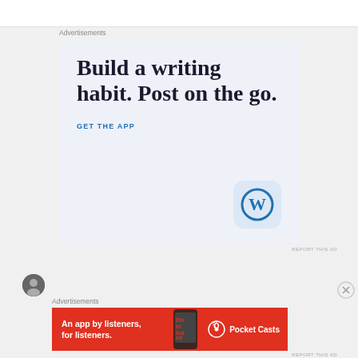Advertisements
[Figure (illustration): WordPress app advertisement with text 'Build a writing habit. Post on the go.' and 'GET THE APP' CTA with WordPress logo]
REPORT THIS AD
[Figure (illustration): Close/X button circle icon]
Advertisements
[Figure (illustration): Pocket Casts advertisement: 'An app by listeners, for listeners.' with red background and Pocket Casts logo]
REPORT THIS AD